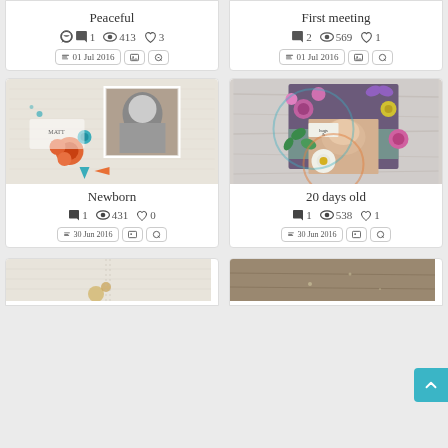[Figure (screenshot): Top partial card for 'Peaceful' scrapbook page: 1 comment, 413 views, 3 likes, date 01 Jul 2016]
[Figure (screenshot): Top partial card for 'First meeting' scrapbook page: 2 comments, 569 views, 1 like, date 01 Jul 2016]
[Figure (photo): Scrapbook page titled 'Newborn' showing a black and white photo of a newborn baby with decorative flowers and embellishments]
Newborn
1 comment, 431 views, 0 likes, 30 Jun 2016
[Figure (photo): Scrapbook page titled '20 days old' showing a color photo of a newborn baby with colorful flowers, butterflies and embellishments]
20 days old
1 comment, 538 views, 1 like, 30 Jun 2016
[Figure (photo): Bottom partial scrapbook card on the left, light beige background with decorative elements visible]
[Figure (photo): Bottom partial scrapbook card on the right, brown/tan background]